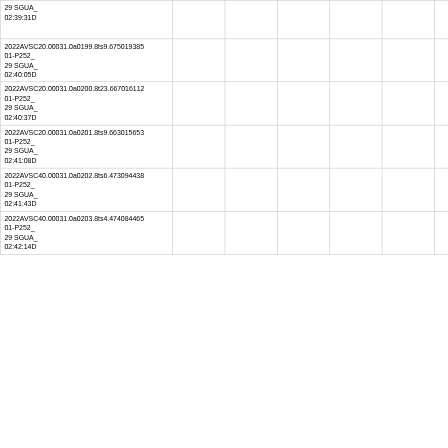| 29 SGUA_
02:39:31D |  |  |  |  |  |  |  |
| 2022AVSC20.00031.0a0199.8ts9.675019385
01-P252_
29 SGUA_
02:40:05D |  |  |  |  |  |  |  |
| 2022AVSC20.00031.0a0200.8t23.667016112
01-P252_
29 SGUA_
02:40:37D |  |  |  |  |  |  |  |
| 2022AVSC20.00031.0a0201.8ts9.663015653
01-P252_
29 SGUA_
02:41:08D |  |  |  |  |  |  |  |
| 2022AVSC40.00031.0a0202.8ts6.473094438
01-P252_
29 SGUA_
02:41:43D |  |  |  |  |  |  |  |
| 2022AVSC40.00031.0a0203.8ts4.474084465
01-P252_
29 SGUA_
02:42:14D |  |  |  |  |  |  |  |